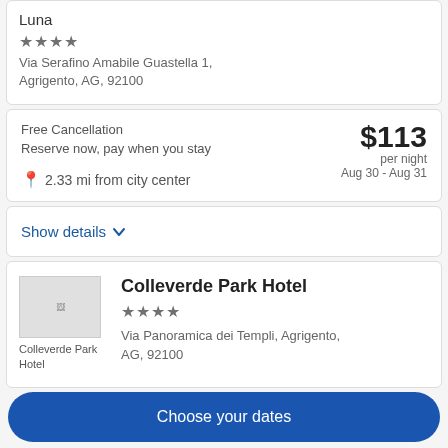Luna
★★★
Via Serafino Amabile Guastella 1, Agrigento, AG, 92100
Free Cancellation
Reserve now, pay when you stay
2.33 mi from city center
$113 per night Aug 30 - Aug 31
Show details
[Figure (screenshot): Broken image placeholder for Colleverde Park Hotel]
Colleverde Park Hotel
★★★
Via Panoramica dei Templi, Agrigento, AG, 92100
Choose your dates